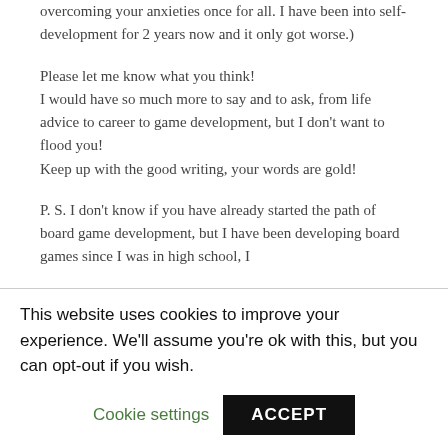overcoming your anxieties once for all. I have been into self-development for 2 years now and it only got worse.)
Please let me know what you think!
I would have so much more to say and to ask, from life advice to career to game development, but I don't want to flood you!
Keep up with the good writing, your words are gold!
P. S. I don't know if you have already started the path of board game development, but I have been developing board games since I was in high school, I
This website uses cookies to improve your experience. We'll assume you're ok with this, but you can opt-out if you wish.
Cookie settings
ACCEPT